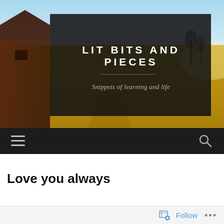[Figure (screenshot): Website header banner for 'Lit Bits and Pieces' blog. Background shows a rural farm scene with golden field, blue sky, and a barn on the left. A dark semi-transparent overlay contains the blog title and tagline.]
LIT BITS AND PIECES
Snippets of learning and life
[Figure (other): Dark navigation bar with hamburger menu icon on the left and search magnifying glass icon on the right]
Love you always
[Figure (other): Bottom follow bar with a Follow button (with bookmark/follow icon) and three dots menu]